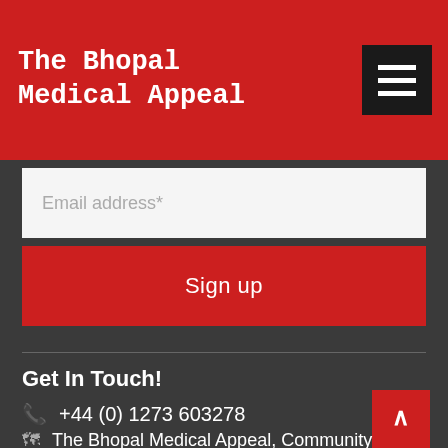The Bhopal Medical Appeal
Email address*
Sign up
Get In Touch!
+44 (0) 1273 603278
The Bhopal Medical Appeal, Community